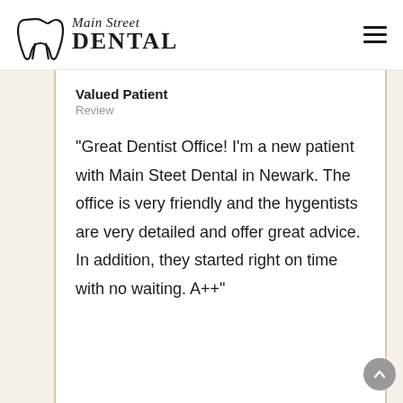Main Street Dental
Valued Patient
Review
“Great Dentist Office! I’m a new patient with Main Steet Dental in Newark. The office is very friendly and the hygentists are very detailed and offer great advice. In addition, they started right on time with no waiting. A++”